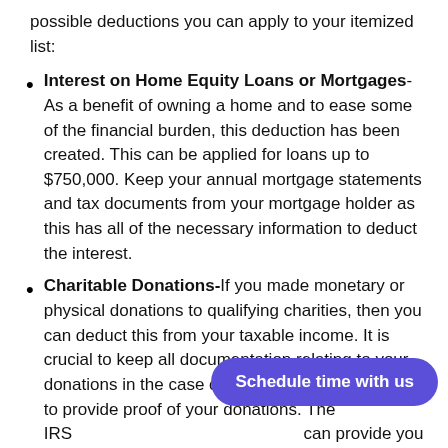possible deductions you can apply to your itemized list:
Interest on Home Equity Loans or Mortgages- As a benefit of owning a home and to ease some of the financial burden, this deduction has been created. This can be applied for loans up to $750,000. Keep your annual mortgage statements and tax documents from your mortgage holder as this has all of the necessary information to deduct the interest.
Charitable Donations- If you made monetary or physical donations to qualifying charities, then you can deduct this from your taxable income. It is crucial to keep all documentation relating to your donations in the case of an audit. You must be able to provide proof of your donations. The IRS can provide you information regarding which charities qualify for the deduction and